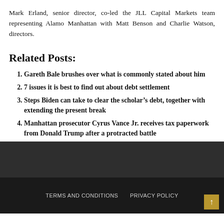Mark Erland, senior director, co-led the JLL Capital Markets team representing Alamo Manhattan with Matt Benson and Charlie Watson, directors.
Related Posts:
Gareth Bale brushes over what is commonly stated about him
7 issues it is best to find out about debt settlement
Steps Biden can take to clear the scholar’s debt, together with extending the present break
Manhattan prosecutor Cyrus Vance Jr. receives tax paperwork from Donald Trump after a protracted battle
TERMS AND CONDITIONS   PRIVACY POLICY